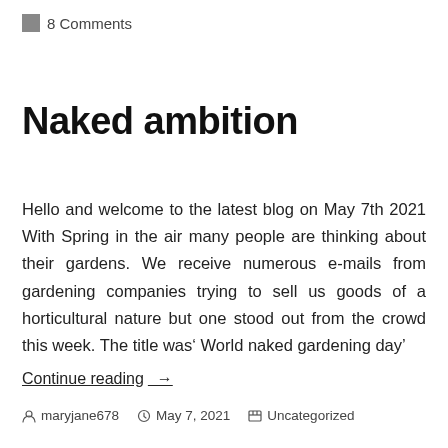8 Comments
Naked ambition
Hello and welcome to the latest blog on May 7th 2021 With Spring in the air many people are thinking about their gardens. We receive numerous e-mails from gardening companies trying to sell us goods of a horticultural nature but one stood out from the crowd this week. The title was‘ World naked gardening day’
Continue reading →
maryjane678  May 7, 2021  Uncategorized